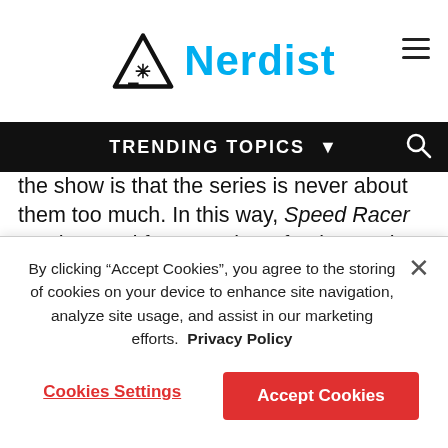Nerdist
TRENDING TOPICS
the show is that the series is never about them too much. In this way, Speed Racer set the trend for a number of anime series that followed, where even the most intense action-adventure series could have extremely over-the-top comedic elements that heighten the cartoon aspect of it all. I think of something like Outlaw Star, which by all accounts was a space adventure for older kids and grown ups but still included absurd cartoony bits.
By clicking “Accept Cookies”, you agree to the storing of cookies on your device to enhance site navigation, analyze site usage, and assist in our marketing efforts. Privacy Policy
Cookies Settings
Accept Cookies